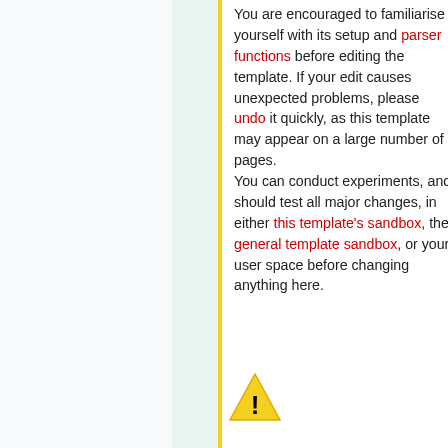[Figure (illustration): Warning triangle icon with exclamation mark, yellow background, positioned in the left-center area of the content panel]
You are encouraged to familiarise yourself with its setup and parser functions before editing the template. If your edit causes unexpected problems, please undo it quickly, as this template may appear on a large number of pages. You can conduct experiments, and should test all major changes, in either this template's sandbox, the general template sandbox, or your user space before changing anything here.